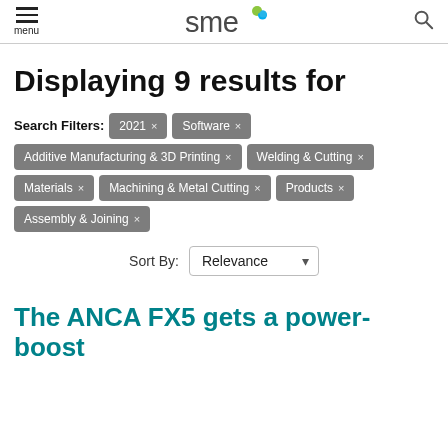menu | SME logo | search
Displaying 9 results for
Search Filters: 2021 × | Software × | Additive Manufacturing & 3D Printing × | Welding & Cutting × | Materials × | Machining & Metal Cutting × | Products × | Assembly & Joining ×
Sort By: Relevance
The ANCA FX5 gets a power-boost